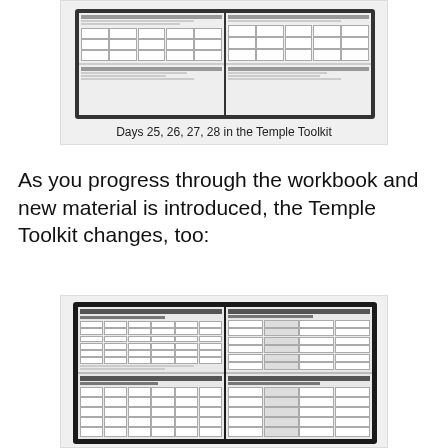[Figure (photo): Open workbook spread showing four pages of the Temple Toolkit with tracking forms and grids, Days 25-28]
Days 25, 26, 27, 28 in the Temple Toolkit
As you progress through the workbook and new material is introduced, the Temple Toolkit changes, too:
[Figure (photo): Open workbook spread showing later pages of the Temple Toolkit with tracking grids and charts showing progression in material]